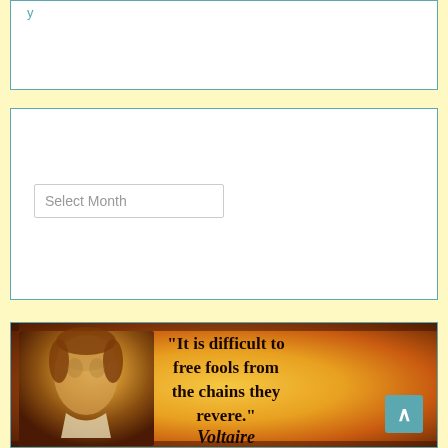y
ARCHIVES
Select Month
[Figure (illustration): Voltaire quote image on aged parchment-like background with portrait of Voltaire on the left. Quote reads: "It is difficult to free fools from the chains they revere." Voltaire]